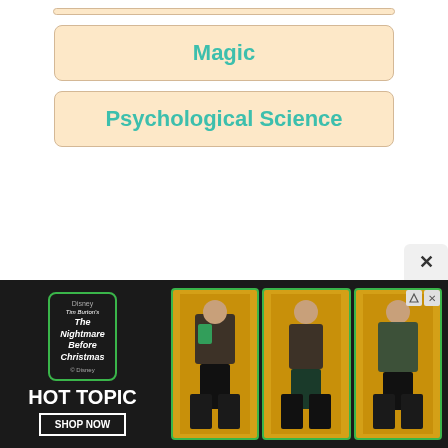Magic
Psychological Science
[Figure (screenshot): Advertisement banner for Hot Topic featuring Disney's The Nightmare Before Christmas. Left side shows logo/branding with 'HOT TOPIC' text and 'SHOP NOW' button on dark background. Right side shows three model photos on yellow background wearing Halloween-themed costumes.]